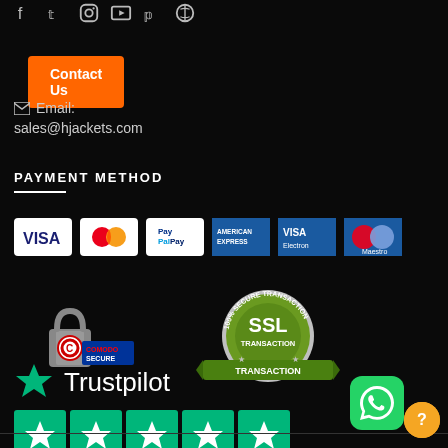[Figure (infographic): Social media icons row: Facebook, Twitter, Instagram, YouTube, Pinterest, Phone]
[Figure (infographic): Orange Contact Us button]
Email: sales@hjackets.com
PAYMENT METHOD
[Figure (infographic): Payment method icons: Visa, Mastercard, PayPal, American Express, Visa Electron, Maestro]
[Figure (infographic): Comodo Secure badge with padlock logo and 100% Secure Transaction SSL badge]
[Figure (infographic): Trustpilot logo with green star and five green star rating boxes]
[Figure (infographic): WhatsApp green icon button in bottom right]
[Figure (infographic): Orange circular help/question mark button]